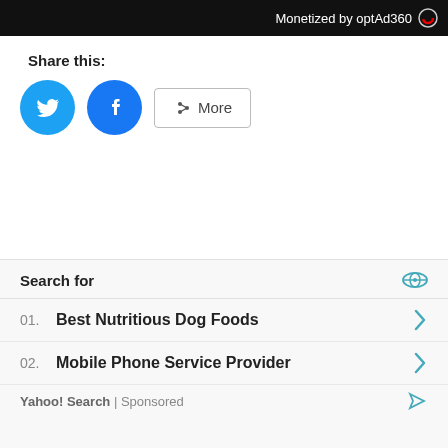Monetized by optAd360
Share this:
[Figure (other): Share buttons: Twitter (blue circle with bird icon), Facebook (blue circle with f icon), and a More button with share icon]
[Figure (other): Close X button in bottom right corner of main content area]
Search for
01. Best Nutritious Dog Foods
02. Mobile Phone Service Provider
Yahoo! Search | Sponsored